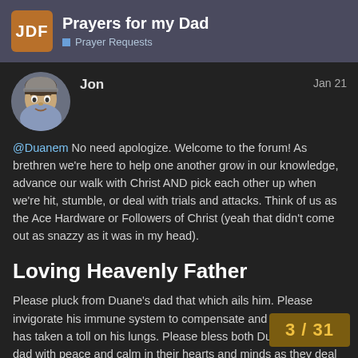Prayers for my Dad | Prayer Requests
Jon   Jan 21
@Duanem No need apologize. Welcome to the forum! As brethren we're here to help one another grow in our knowledge, advance our walk with Christ AND pick each other up when we're hit, stumble, or deal with trials and attacks. Think of us as the Ace Hardware or Followers of Christ (yeah that didn't come out as snazzy as it was in my head).
Loving Heavenly Father
Please pluck from Duane's dad that which ails him. Please invigorate his immune system to compensate and attack what has taken a toll on his lungs. Please bless both Duane and his dad with peace and calm in their hearts and minds as they deal with this infection and virus. Please heal D the process and guide the medical staff to
3 / 31